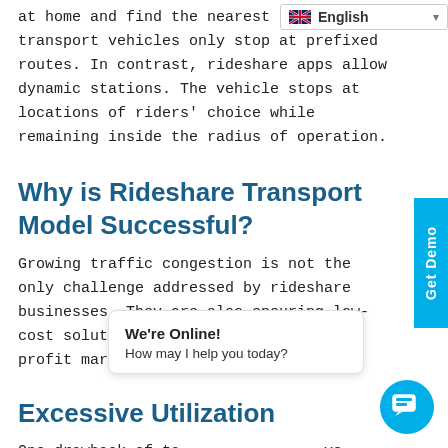English (language selector)
at home and find the nearest pic... transport vehicles only stop at prefixed routes. In contrast, rideshare apps allow dynamic stations. The vehicle stops at locations of riders' choice while remaining inside the radius of operation.
Why is Rideshare Transport Model Successful?
Growing traffic congestion is not the only challenge addressed by rideshare businesses. They are also ensuring low-cost solution to commuters with better profit margins for service provider.
Excessive Utilization
One drawback of ta... ve remain idle most of... excessive fuel and consumes more time without
We're Online! How may I help you today?